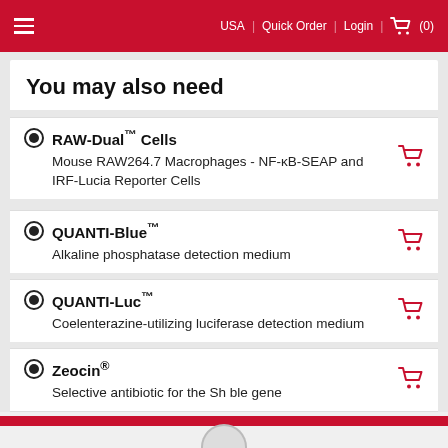USA | Quick Order | Login | (0)
You may also need
RAW-Dual™ Cells
Mouse RAW264.7 Macrophages - NF-κB-SEAP and IRF-Lucia Reporter Cells
QUANTI-Blue™
Alkaline phosphatase detection medium
QUANTI-Luc™
Coelenterazine-utilizing luciferase detection medium
Zeocin®
Selective antibiotic for the Sh ble gene